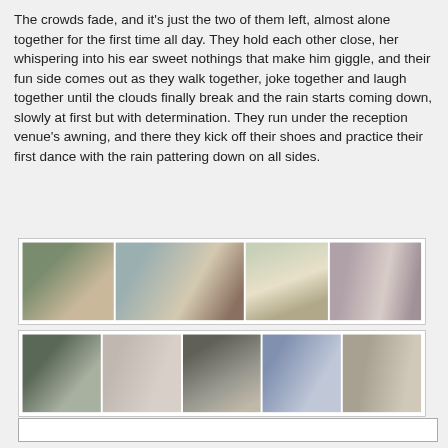The crowds fade, and it's just the two of them left, almost alone together for the first time all day. They hold each other close, her whispering into his ear sweet nothings that make him giggle, and their fun side comes out as they walk together, joke together and laugh together until the clouds finally break and the rain starts coming down, slowly at first but with determination. They run under the reception venue's awning, and there they kick off their shoes and practice their first dance with the rain pattering down on all sides.
[Figure (photo): A collage of four wedding photos showing a couple outdoors: couple standing in a field, close-up of couple nearly kissing, couple kissing in the rain, and couple kissing close-up.]
[Figure (photo): A collage of four wedding photos showing: couple walking, couple kissing close-up, photographer photographing couple, couple embracing, and couple standing in field.]